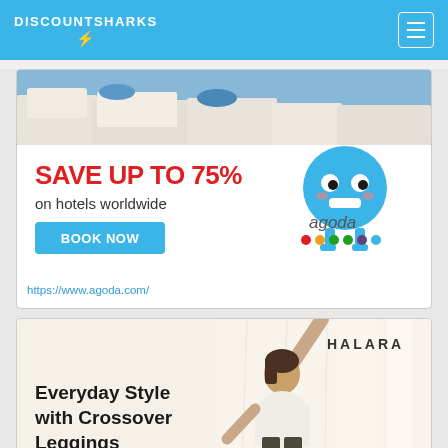DISCOUNTSHARKS
[Figure (illustration): Agoda advertisement banner: Santorini-style white buildings photo at top, blue cartoon mascot character on right, red bold text 'SAVE UP TO 75%', black text 'on hotels worldwide', blue BOOK NOW button, agoda logo with colored dots]
https://www.agoda.com/
[Figure (illustration): Halara advertisement: woman in white crop top and dark leggings doing a yoga/dance pose, HALARA brand text top right, text 'Everyday Style with Crossover Leggings', partial red button at bottom]